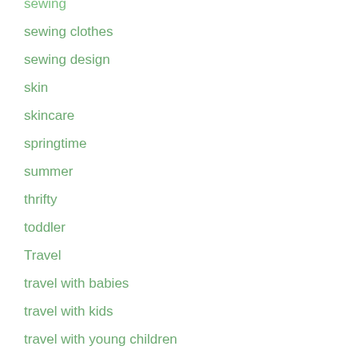sewing
sewing clothes
sewing design
skin
skincare
springtime
summer
thrifty
toddler
Travel
travel with babies
travel with kids
travel with young children
treating acne scars
trip
Uncategorized
writing
Writing humor